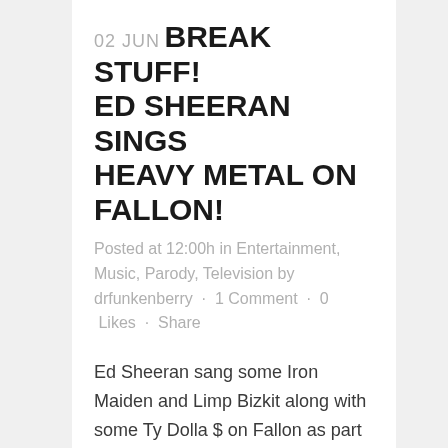02 JUN BREAK STUFF! ED SHEERAN SINGS HEAVY METAL ON FALLON!
Posted at 12:00h in Entertainment, Music, Parody, Television by drfunkenberry · 1 Comment · 0 Likes · Share
Ed Sheeran sang some Iron Maiden and Limp Bizkit along with some Ty Dolla $ on Fallon as part of a skit. Some cool, funny stuff from Sheeran and Fallon! Check…